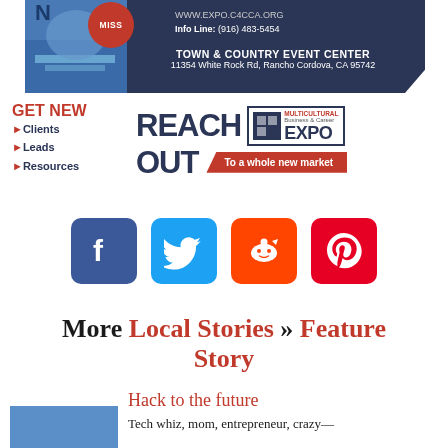[Figure (infographic): Advertisement for Multicultural Business & Career Expo. Dark navy banner with event website WWW.EXPO.C4CCA.ORG, Info Line: (916) 483-5454, TOWN & COUNTRY EVENT CENTER, 11354 White Rock Rd, Rancho Cordova, CA 95742. Red circle with MISS text. Lower section: GET NEW with Clients, Leads, Resources list; REACH OUT Multicultural Business & Career EXPO - To a whole new market.]
[Figure (infographic): Social media icons row: Facebook (blue), Twitter (blue), Reddit (orange), Pinterest (red)]
More Local Stories » Feature Story
Hack to the future
Tech whiz, mom, entrepreneur, crazy—